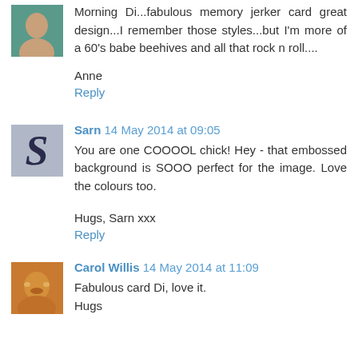Morning Di...fabulous memory jerker card great design...I remember those styles...but I'm more of a 60's babe beehives and all that rock n roll....
Anne
Reply
Sarn 14 May 2014 at 09:05
You are one COOOOL chick! Hey - that embossed background is SOOO perfect for the image. Love the colours too.
Hugs, Sarn xxx
Reply
Carol Willis 14 May 2014 at 11:09
Fabulous card Di, love it.
Hugs